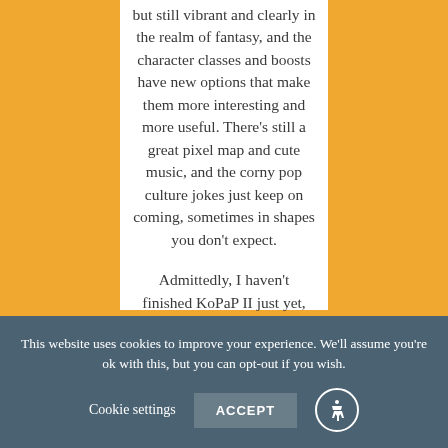but still vibrant and clearly in the realm of fantasy, and the character classes and boosts have new options that make them more interesting and more useful. There's still a great pixel map and cute music, and the corny pop culture jokes just keep on coming, sometimes in shapes you don't expect.

Admittedly, I haven't finished KoPaP II just yet, since I've been a little pressed for time, but the beauty of it is that it's easy to pick up for twenty minutes a pop
This website uses cookies to improve your experience. We'll assume you're ok with this, but you can opt-out if you wish. Cookie settings ACCEPT